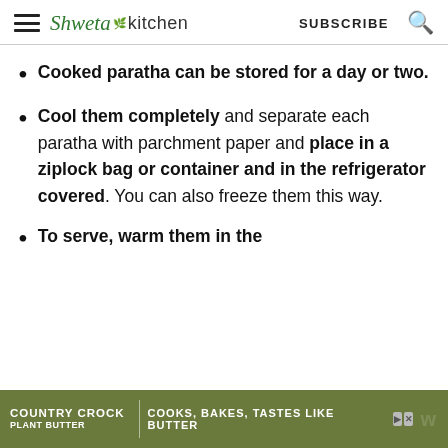Shweta in Kitchen  SUBSCRIBE
Cooked paratha can be stored for a day or two.
Cool them completely and separate each paratha with parchment paper and place in a ziplock bag or container and in the refrigerator covered. You can also freeze them this way.
To serve, warm them in the
[Figure (infographic): Country Crock Plant Butter advertisement banner: green/olive background with logo and tagline 'COOKS, BAKES, TASTES LIKE BUTTER']